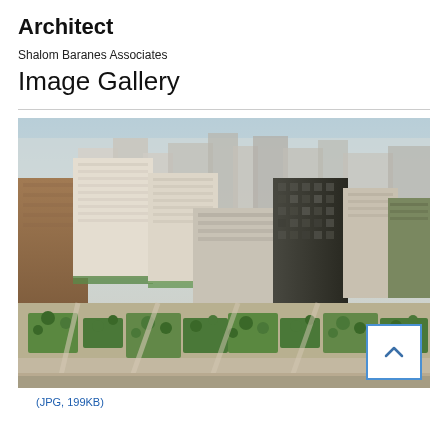Architect
Shalom Baranes Associates
Image Gallery
[Figure (photo): Aerial architectural scale model photograph showing a dense urban development with multiple high-rise and mid-rise buildings, green roof terraces, landscaped public spaces with trees and pathways, and surrounding city context. The model shows a large mixed-use development with a prominent dark glass tower and adjacent white/cream buildings.]
(JPG, 199KB)